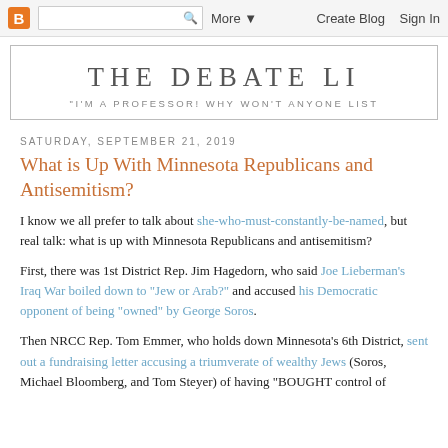B  [search]  More ▼  Create Blog  Sign In
THE DEBATE LI
"I'M A PROFESSOR! WHY WON'T ANYONE LIST
SATURDAY, SEPTEMBER 21, 2019
What is Up With Minnesota Republicans and Antisemitism?
I know we all prefer to talk about she-who-must-constantly-be-named, but real talk: what is up with Minnesota Republicans and antisemitism?
First, there was 1st District Rep. Jim Hagedorn, who said Joe Lieberman's Iraq War boiled down to "Jew or Arab?" and accused his Democratic opponent of being "owned" by George Soros.
Then NRCC Rep. Tom Emmer, who holds down Minnesota's 6th District, sent out a fundraising letter accusing a triumverate of wealthy Jews (Soros, Michael Bloomberg, and Tom Steyer) of having "BOUGHT control of